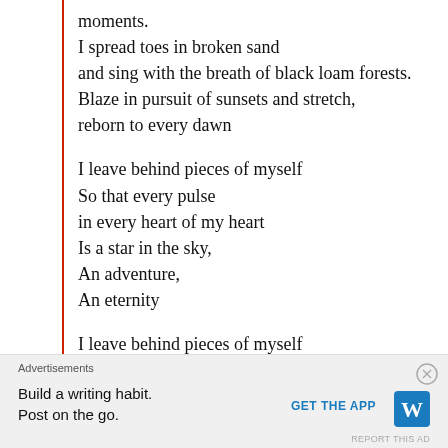moments.
I spread toes in broken sand
and sing with the breath of black loam forests.
Blaze in pursuit of sunsets and stretch,
reborn to every dawn
I leave behind pieces of myself
So that every pulse
in every heart of my heart
Is a star in the sky,
An adventure,
An eternity
I leave behind pieces of myself
In every heart that I have loved
Advertisements
Build a writing habit.
Post on the go.
GET THE APP